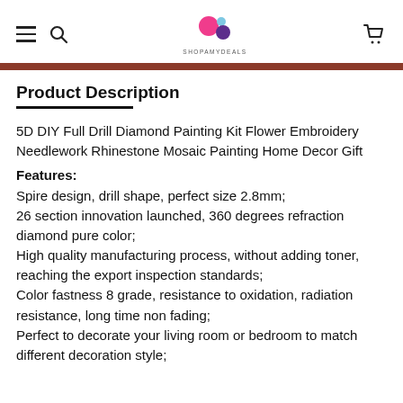SHOPAMYDEALS
Product Description
5D DIY Full Drill Diamond Painting Kit Flower Embroidery Needlework Rhinestone Mosaic Painting Home Decor Gift
Features:
Spire design, drill shape, perfect size 2.8mm;
26 section innovation launched, 360 degrees refraction diamond pure color;
High quality manufacturing process, without adding toner, reaching the export inspection standards;
Color fastness 8 grade, resistance to oxidation, radiation resistance, long time non fading;
Perfect to decorate your living room or bedroom to match different decoration style;